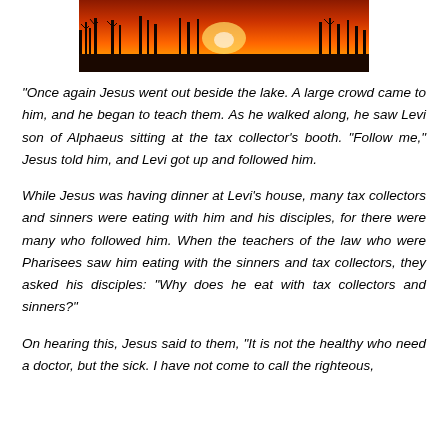[Figure (photo): Sunset or sunrise photograph showing silhouettes of bare trees against an orange and red sky with the sun visible on the horizon]
"Once again Jesus went out beside the lake. A large crowd came to him, and he began to teach them. As he walked along, he saw Levi son of Alphaeus sitting at the tax collector’s booth. “Follow me,” Jesus told him, and Levi got up and followed him.
While Jesus was having dinner at Levi’s house, many tax collectors and sinners were eating with him and his disciples, for there were many who followed him. When the teachers of the law who were Pharisees saw him eating with the sinners and tax collectors, they asked his disciples: “Why does he eat with tax collectors and sinners?”
On hearing this, Jesus said to them, “It is not the healthy who need a doctor, but the sick. I have not come to call the righteous,